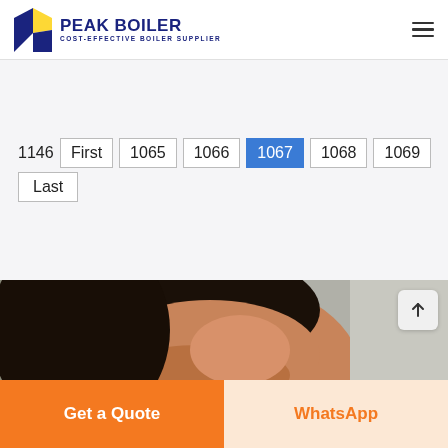[Figure (logo): Peak Boiler logo with blue and yellow flame icon and text 'PEAK BOILER - COST-EFFECTIVE BOILER SUPPLIER']
1146  First  1065  1066  1067  1068  1069  Last
[Figure (photo): Partial close-up of a smiling woman with dark hair against a blurred background]
Get a Quote
WhatsApp